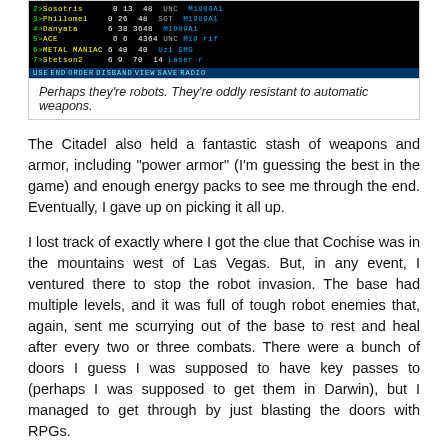[Figure (screenshot): A retro video game character list screen showing party members with stats, with a menu bar at the bottom reading USE END ORDER DISBAND VIEW SAVE RADIO]
Perhaps they're robots. They're oddly resistant to automatic weapons.
The Citadel also held a fantastic stash of weapons and armor, including "power armor" (I'm guessing the best in the game) and enough energy packs to see me through the end. Eventually, I gave up on picking it all up.
I lost track of exactly where I got the clue that Cochise was in the mountains west of Las Vegas. But, in any event, I ventured there to stop the robot invasion. The base had multiple levels, and it was full of tough robot enemies that, again, sent me scurrying out of the base to rest and heal after every two or three combats. There were a bunch of doors I guess I was supposed to have key passes to (perhaps I was supposed to get them in Darwin), but I managed to get through by just blasting the doors with RPGs.